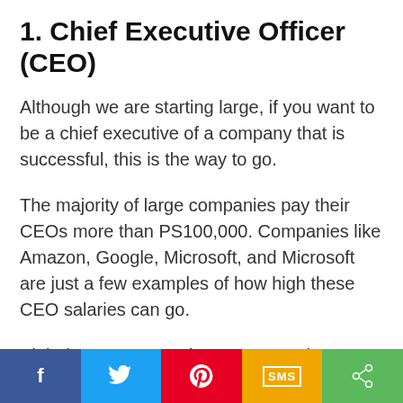1. Chief Executive Officer (CEO)
Although we are starting large, if you want to be a chief executive of a company that is successful, this is the way to go.
The majority of large companies pay their CEOs more than PS100,000. Companies like Amazon, Google, Microsoft, and Microsoft are just a few examples of how high these CEO salaries can go.
Alphabet CEO, Google’s parent, makes more than PS500,000 annually through salary
f | Twitter | Pinterest | SMS | Share